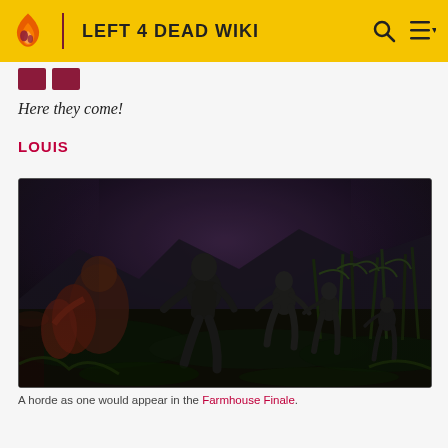LEFT 4 DEAD WIKI
Here they come!
LOUIS
[Figure (screenshot): A horde of zombies running through a cornfield at night in a video game scene from Left 4 Dead.]
A horde as one would appear in the Farmhouse Finale.